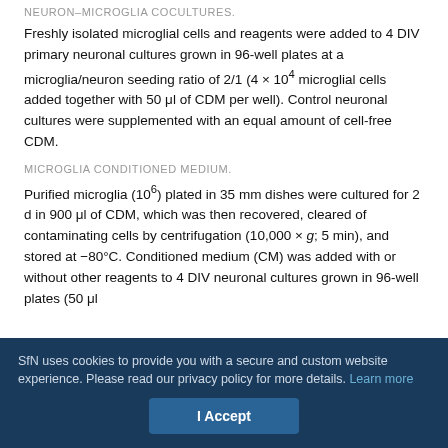NEURON–MICROGLIA COCULTURES.
Freshly isolated microglial cells and reagents were added to 4 DIV primary neuronal cultures grown in 96-well plates at a microglia/neuron seeding ratio of 2/1 (4 × 10⁴ microglial cells added together with 50 μl of CDM per well). Control neuronal cultures were supplemented with an equal amount of cell-free CDM.
MICROGLIA CONDITIONED MEDIUM.
Purified microglia (10⁶) plated in 35 mm dishes were cultured for 2 d in 900 μl of CDM, which was then recovered, cleared of contaminating cells by centrifugation (10,000 × g; 5 min), and stored at −80°C. Conditioned medium (CM) was added with or without other reagents to 4 DIV neuronal cultures grown in 96-well plates (50 μl
SfN uses cookies to provide you with a secure and custom website experience. Please read our privacy policy for more details. Learn more